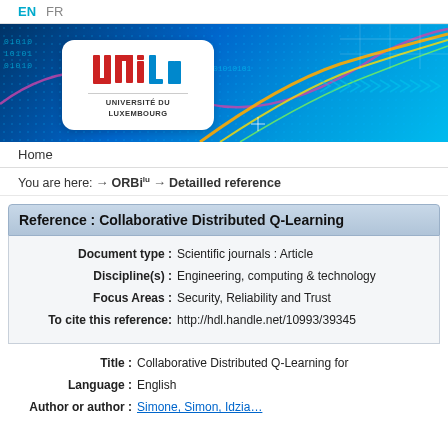EN  FR
[Figure (illustration): University of Luxembourg banner with blue digital technology background, binary numbers, and the uni.lu logo in a white rounded box]
Home
You are here:  → ORBilu  → Detailled reference
Reference : Collaborative Distributed Q-Learning
| Document type : | Scientific journals : Article |
| Discipline(s) : | Engineering, computing & technology |
| Focus Areas : | Security, Reliability and Trust |
| To cite this reference: | http://hdl.handle.net/10993/39345 |
Title : Collaborative Distributed Q-Learning for
Language : English
Author or author : [name partially visible]